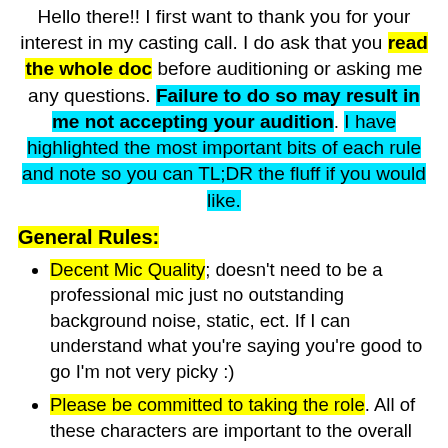Hello there!! I first want to thank you for your interest in my casting call. I do ask that you read the whole doc before auditioning or asking me any questions. Failure to do so may result in me not accepting your audition. I have highlighted the most important bits of each rule and note so you can TL;DR the fluff if you would like.
General Rules:
Decent Mic Quality; doesn't need to be a professional mic just no outstanding background noise, static, ect. If I can understand what you're saying you're good to go I'm not very picky :)
Please be committed to taking the role. All of these characters are important to the overall story, however, they may have certain episodes where they do not appear. The actor must be willing to stay on the project